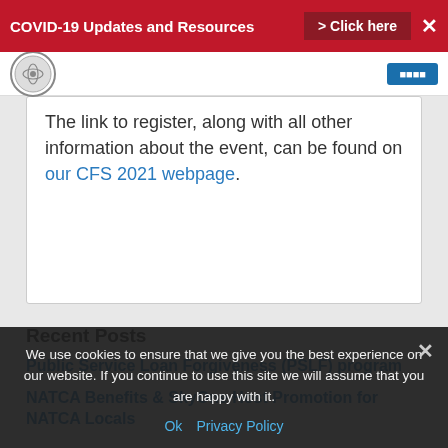COVID-19 Updates and Resources  > Click here  ✕
The link to register, along with all other information about the event, can be found on our CFS 2021 webpage.
Recent Posts
Public Service Loan Forgiveness (PSLF) program
NATCA Benefits & SkyOne Host Promotion for NATCA Locals
We use cookies to ensure that we give you the best experience on our website. If you continue to use this site we will assume that you are happy with it.
Ok  Privacy Policy